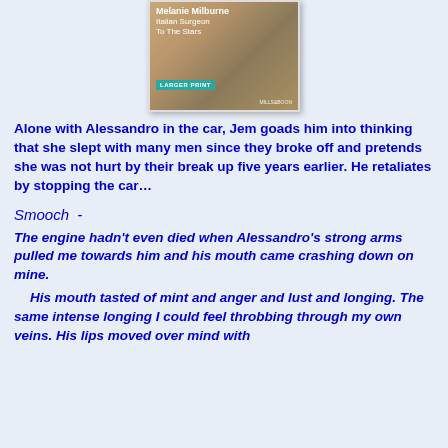[Figure (illustration): Book cover for 'Italian Surgeon To The Stars' by Melanie Milburne, Mills & Boon Larger Print edition, showing a romantic image with teal 'LARGER PRINT' badge]
Alone with Alessandro in the car, Jem goads him into thinking that she slept with many men since they broke off and pretends she was not hurt by their break up five years earlier. He retaliates by stopping the car…
Smooch  -
The engine hadn't even died when Alessandro's strong arms pulled me towards him and his mouth came crashing down on mine.
His mouth tasted of mint and anger and lust and longing. The same intense longing I could feel throbbing through my own veins. His lips moved over mind with